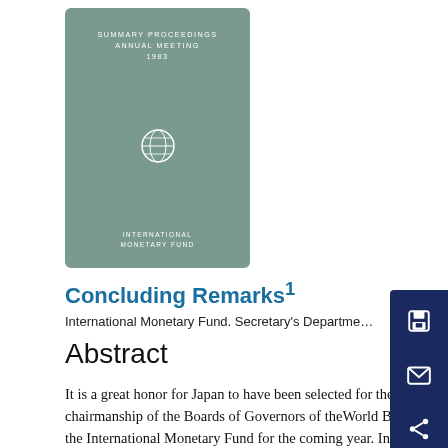[Figure (illustration): Book cover with teal/grey-green background showing 'SUMMARY PROCEEDINGS ANNUAL MEETING 1983' at top, IMF circular logo in center, and 'INTERNATIONAL MONETARY FUND' at bottom, all in white text.]
Concluding Remarks1
International Monetary Fund. Secretary's Department
Abstract
It is a great honor for Japan to have been selected for the chairmanship of the Boards of Governors of the World Bank and the International Monetary Fund for the coming year. In accepting the chairmanship, Japan promises to endeavor to carry out the duties of this weighty office, following the example of the excellent